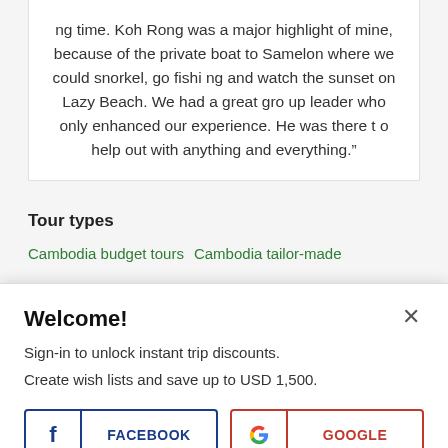ng time. Koh Rong was a major highlight of mine, because of the private boat to Samelon where we could snorkel, go fishing and watch the sunset on Lazy Beach. We had a great group leader who only enhanced our experience. He was there to help out with anything and everything.”
Tour types
Cambodia budget tours
Cambodia tailor-made
Welcome!
Sign-in to unlock instant trip discounts.
Create wish lists and save up to USD 1,500.
FACEBOOK
GOOGLE
More login options here.